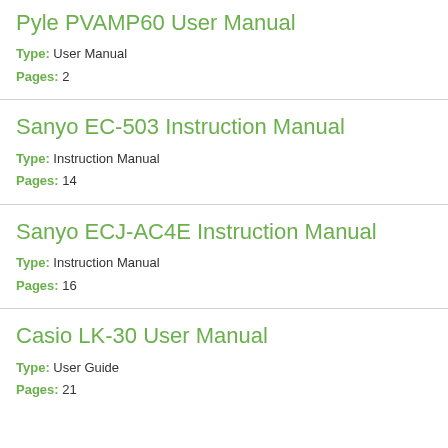Pyle PVAMP60 User Manual
Type: User Manual
Pages: 2
Sanyo EC-503 Instruction Manual
Type: Instruction Manual
Pages: 14
Sanyo ECJ-AC4E Instruction Manual
Type: Instruction Manual
Pages: 16
Casio LK-30 User Manual
Type: User Guide
Pages: 21